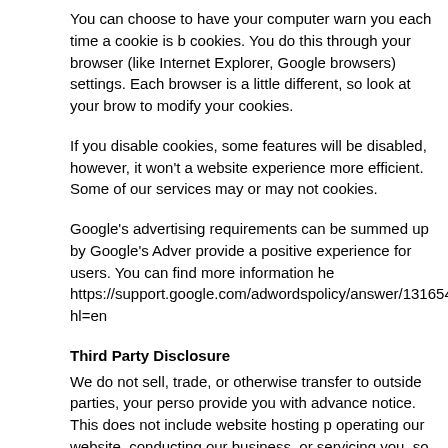You can choose to have your computer warn you each time a cookie is b cookies. You do this through your browser (like Internet Explorer, Google browsers) settings. Each browser is a little different, so look at your brow to modify your cookies.
If you disable cookies, some features will be disabled, however, it won't a website experience more efficient. Some of our services may or may not cookies.
Google's advertising requirements can be summed up by Google's Adver provide a positive experience for users. You can find more information he https://support.google.com/adwordspolicy/answer/1316548?hl=en
Third Party Disclosure
We do not sell, trade, or otherwise transfer to outside parties, your perso provide you with advance notice. This does not include website hosting p operating our website, conducting our business, or servicing you, so long information confidential. We may also release your information when we with the law, enforce our website policies, or protect ours or others' rights
However, non-personally identifiable visitor information may be provided or other uses.
Canada Anti-Spam Law (CASL)